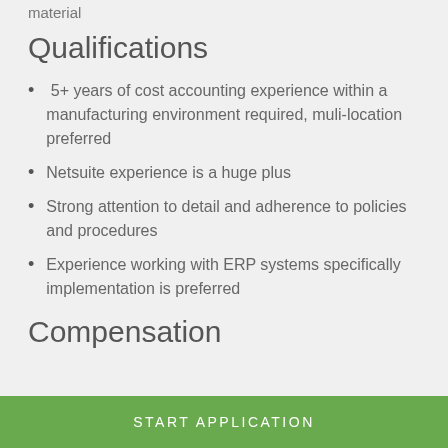material
Qualifications
5+ years of cost accounting experience within a manufacturing environment required, muli-location preferred
Netsuite experience is a huge plus
Strong attention to detail and adherence to policies and procedures
Experience working with ERP systems specifically implementation is preferred
Compensation
START APPLICATION